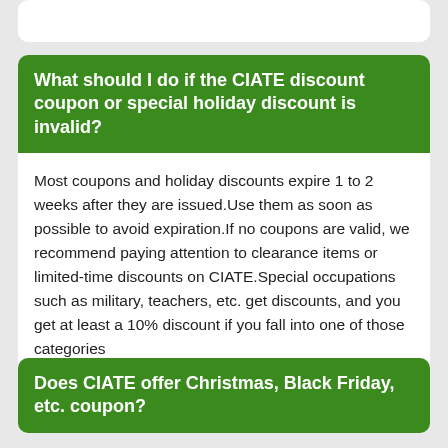What should I do if the CIATE discount coupon or special holiday discount is invalid?
Most coupons and holiday discounts expire 1 to 2 weeks after they are issued.Use them as soon as possible to avoid expiration.If no coupons are valid, we recommend paying attention to clearance items or limited-time discounts on CIATE.Special occupations such as military, teachers, etc. get discounts, and you get at least a 10% discount if you fall into one of those categories
Does CIATE offer Christmas, Black Friday, etc. coupon?